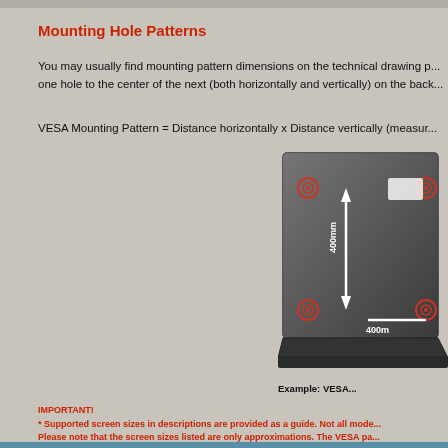Mounting Hole Patterns
You may usually find mounting pattern dimensions on the technical drawing p... one hole to the center of the next (both horizontally and vertically) on the back...
VESA Mounting Pattern = Distance horizontally x Distance vertically (measur...
[Figure (illustration): Back of a TV showing VESA mounting holes with arrows indicating 400mm horizontal and vertical distances between hole centers]
Example: VESA...
IMPORTANT!
* Supported screen sizes in descriptions are provided as a guide. Not all mode... Please note that the screen sizes listed are only approximations. The VESA pa... a given TV and mount are compatible. Please check the VESA pattern listed in...